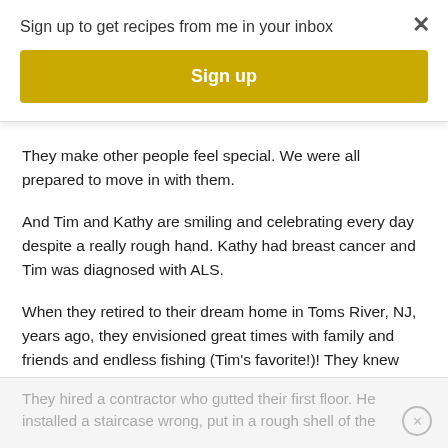Sign up to get recipes from me in your inbox
Sign up
They make other people feel special. We were all prepared to move in with them.
And Tim and Kathy are smiling and celebrating every day despite a really rough hand. Kathy had breast cancer and Tim was diagnosed with ALS.
When they retired to their dream home in Toms River, NJ, years ago, they envisioned great times with family and friends and endless fishing (Tim's favorite!)! They knew that they would have to do some work to their home to make it handicap friendly for the years ahead, (although I don't see them slowing down yet!)
They hired a contractor who gutted their first floor. He installed a staircase wrong, put in a rough shell of the